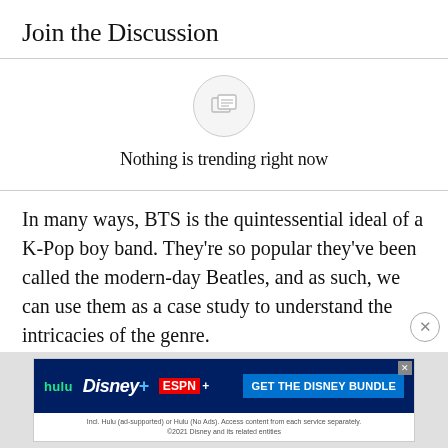Join the Discussion
[Figure (illustration): A circular icon with a light gray background showing two overlapping chat/card icons in outline style]
Nothing is trending right now
In many ways, BTS is the quintessential ideal of a K-Pop boy band. They're so popular they've been called the modern-day Beatles, and as such, we can use them as a case study to understand the intricacies of the genre.
The Members
[Figure (screenshot): Advertisement banner for Disney Bundle featuring Hulu, Disney+, and ESPN+ logos with a blue 'GET THE DISNEY BUNDLE' call-to-action button and fine print below]